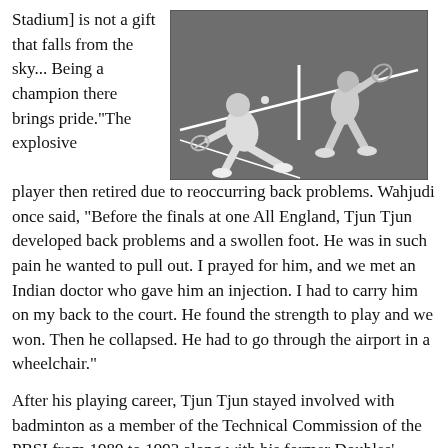Stadium] is not a gift that falls from the sky... Being a champion there brings pride."The explosive
[Figure (photo): Black and white photograph of two badminton players on a court, one lunging forward, with a net visible.]
player then retired due to reoccurring back problems. Wahjudi once said, "Before the finals at one All England, Tjun Tjun developed back problems and a swollen foot. He was in such pain he wanted to pull out. I prayed for him, and we met an Indian doctor who gave him an injection. I had to carry him on my back to the court. He found the strength to play and we won. Then he collapsed. He had to go through the airport in a wheelchair."
After his playing career, Tjun Tjun stayed involved with badminton as a member of the Technical Commission of the PBSI from 1989 to 1993 along with his former Doubles' Partner, Wahjudi. Tjun Tjun founded PB Lotto, a